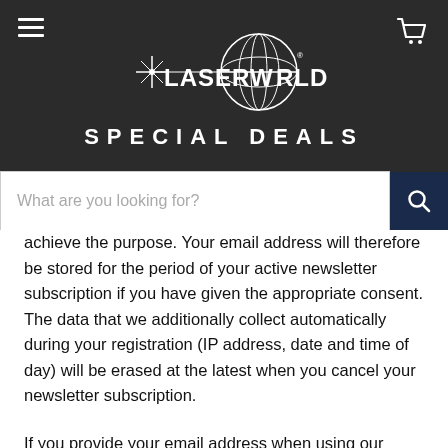LASERWORLD SPECIAL DEALS
achieve the purpose. Your email address will therefore be stored for the period of your active newsletter subscription if you have given the appropriate consent. The data that we additionally collect automatically during your registration (IP address, date and time of day) will be erased at the latest when you cancel your newsletter subscription.
If you provide your email address when using our services, for example when making a purchase on our website, we may use it to send you our newsletter. This takes place exclusively in the context of direct advertising for own or similar goods or